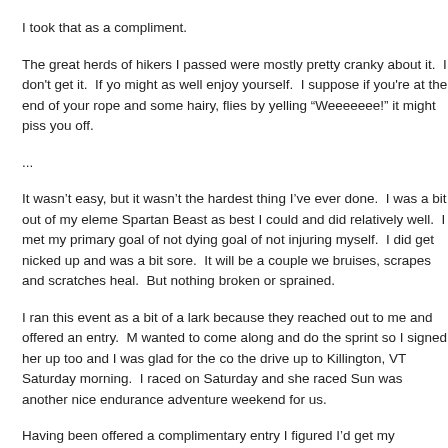I took that as a compliment.
The great herds of hikers I passed were mostly pretty cranky about it.  I don't get it.  If yo might as well enjoy yourself.  I suppose if you're at the end of your rope and some hairy, flies by yelling “Weeeeeee!” it might piss you off.
...
It wasn't easy, but it wasn't the hardest thing I've ever done.  I was a bit out of my eleme Spartan Beast as best I could and did relatively well.  I met my primary goal of not dying goal of not injuring myself.  I did get nicked up and was a bit sore.  It will be a couple we bruises, scrapes and scratches heal.  But nothing broken or sprained.
I ran this event as a bit of a lark because they reached out to me and offered an entry.  M wanted to come along and do the sprint so I signed her up too and I was glad for the co the drive up to Killington, VT Saturday morning.  I raced on Saturday and she raced Sun was another nice endurance adventure weekend for us.
Having been offered a complimentary entry I figured I’d get my money’s worth and run o a higher difficulty level.  When you look at the advertised events it starts with the Sprint, Super and then up to the Beast.  The Sprint is advertised as 5k distance, the Super is a around a ½ marathon.  There’s a special shirt / 3-part medal if you do all three.
There are also longer events like running the ‘Ultra-Beast’ which is the Beast twice and t special multi-day event.